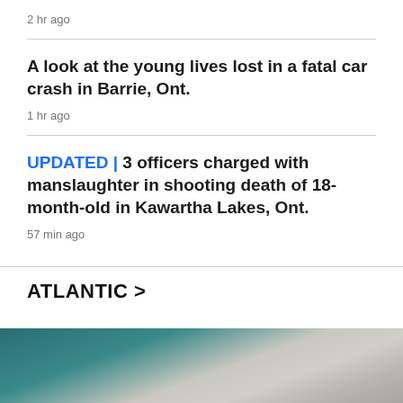2 hr ago
A look at the young lives lost in a fatal car crash in Barrie, Ont.
1 hr ago
UPDATED | 3 officers charged with manslaughter in shooting death of 18-month-old in Kawartha Lakes, Ont.
57 min ago
ATLANTIC >
[Figure (photo): Photo of a person with white/grey hair against a teal/dark background, partially visible at bottom of page]